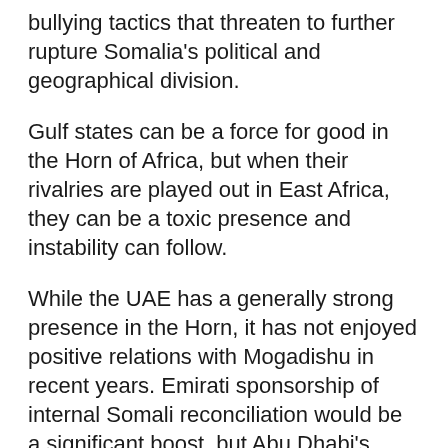bullying tactics that threaten to further rupture Somalia's political and geographical division.
Gulf states can be a force for good in the Horn of Africa, but when their rivalries are played out in East Africa, they can be a toxic presence and instability can follow.
While the UAE has a generally strong presence in the Horn, it has not enjoyed positive relations with Mogadishu in recent years. Emirati sponsorship of internal Somali reconciliation would be a significant boost, but Abu Dhabi's primary interest in Somalia is not peace.
The UAE has sought to increase its influence throughout the Horn of Africa by forging political